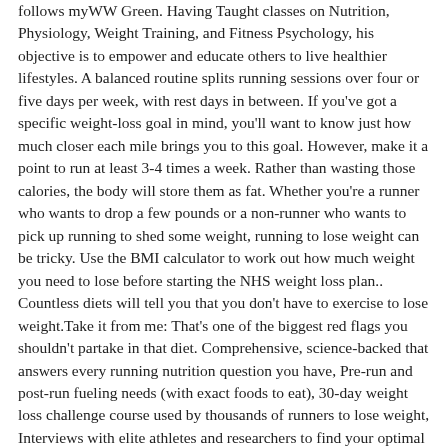follows myWW Green. Having Taught classes on Nutrition, Physiology, Weight Training, and Fitness Psychology, his objective is to empower and educate others to live healthier lifestyles. A balanced routine splits running sessions over four or five days per week, with rest days in between. If you've got a specific weight-loss goal in mind, you'll want to know just how much closer each mile brings you to this goal. However, make it a point to run at least 3-4 times a week. Rather than wasting those calories, the body will store them as fat. Whether you're a runner who wants to drop a few pounds or a non-runner who wants to pick up running to shed some weight, running to lose weight can be tricky. Use the BMI calculator to work out how much weight you need to lose before starting the NHS weight loss plan.. Countless diets will tell you that you don't have to exercise to lose weight.Take it from me: That's one of the biggest red flags you shouldn't partake in that diet. Comprehensive, science-backed that answers every running nutrition question you have, Pre-run and post-run fueling needs (with exact foods to eat), 30-day weight loss challenge course used by thousands of runners to lose weight, Interviews with elite athletes and researchers to find your optimal diet. This will minimise the loss of lean body tissue and ensure you're meeting your nutritional requirements so that energy levels and running performance are not negatively affected. Please log in again. This is reflected in the calculator with the corresponding calories intake on a weekly basis. Once you know how many minutes you have to